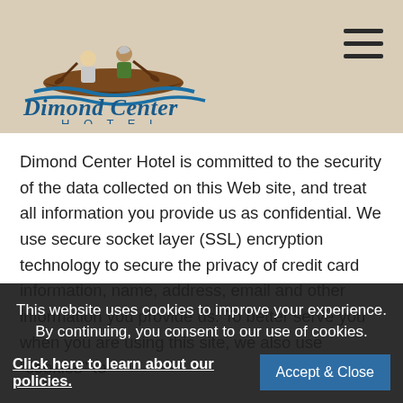[Figure (logo): Dimond Center Hotel logo: canoe with two paddlers above stylized blue waves, with 'Dimond Center' in bold blue script and 'HOTEL' in spaced blue capitals below]
Dimond Center Hotel is committed to the security of the data collected on this Web site, and treat all information you provide us as confidential. We use secure socket layer (SSL) encryption technology to secure the privacy of credit card information, name, address, email and other information you provide us. To better serve you when you are using this site, we also use "cookies" to
This website uses cookies to improve your experience. By continuing, you consent to our use of cookies.
Click here to learn about our policies.
Accept & Close